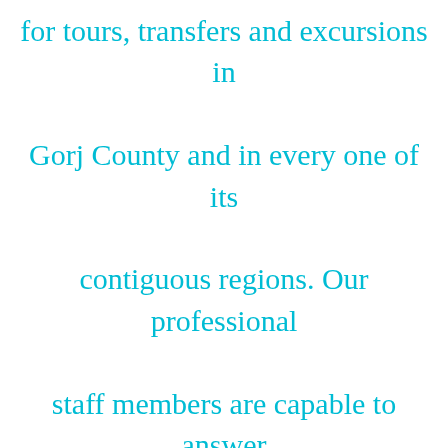for tours, transfers and excursions in Gorj County and in every one of its contiguous regions. Our professional staff members are capable to answer our customer's inquiry regarding our agency and with reference to all well-established charter bus companies with whom we cooperate. Please proceed to message us by